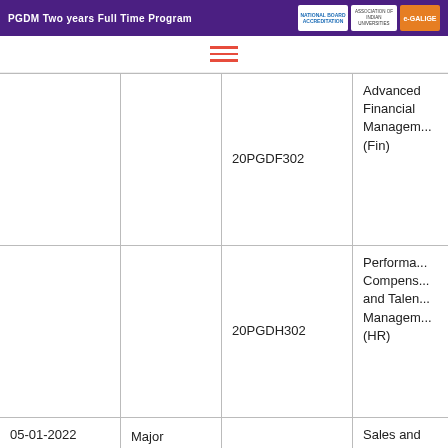PGDM Two years Full Time Program
| Date | Type | Code | Subject |
| --- | --- | --- | --- |
|  |  | 20PGDF302 | Advanced Financial Management (Fin) |
|  |  | 20PGDH302 | Performance Compensation and Talent Management (HR) |
| 05-01-2022 Wednesday | Major | 20PGDM303 | Sales and Distribution Management (Mktg) |